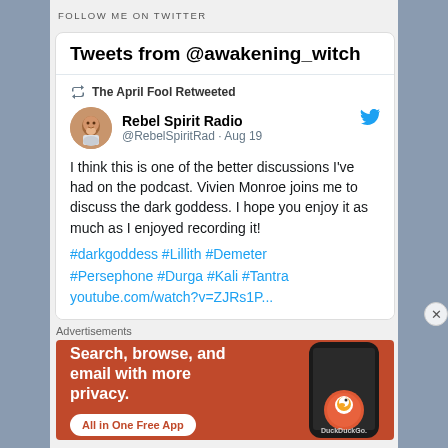FOLLOW ME ON TWITTER
Tweets from @awakening_witch
The April Fool Retweeted
Rebel Spirit Radio @RebelSpiritRad · Aug 19
I think this is one of the better discussions I've had on the podcast. Vivien Monroe joins me to discuss the dark goddess. I hope you enjoy it as much as I enjoyed recording it! #darkgoddess #Lillith #Demeter #Persephone #Durga #Kali #Tantra youtube.com/watch?v=ZJRs1P...
Advertisements
[Figure (screenshot): DuckDuckGo advertisement banner: orange background with white text 'Search, browse, and email with more privacy.' and 'All in One Free App' button, with a phone showing DuckDuckGo logo on the right.]